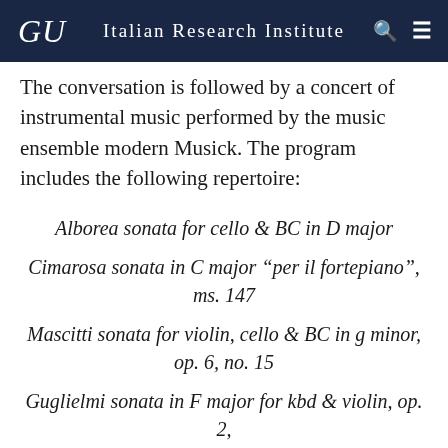GU  Italian Research Institute
The conversation is followed by a concert of instrumental music performed by the music ensemble modern Musick. The program includes the following repertoire:
Alborea sonata for cello & BC in D major
Cimarosa sonata in C major “per il fortepiano”, ms. 147
Mascitti sonata for violin, cello & BC in g minor, op. 6, no. 15
Guglielmi sonata in F major for kbd & violin, op. 2, no. 4